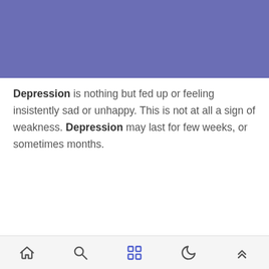Scroll down and check out the whole article and get to know how to determine if you are in depression or not.First of all, let us know about what is a depression.
Depression is nothing but fed up or feeling insistently sad or unhappy. This is not at all a sign of weakness. Depression may last for few weeks, or sometimes months.
[navigation bar with home, search, grid, moon, and up-arrow icons]